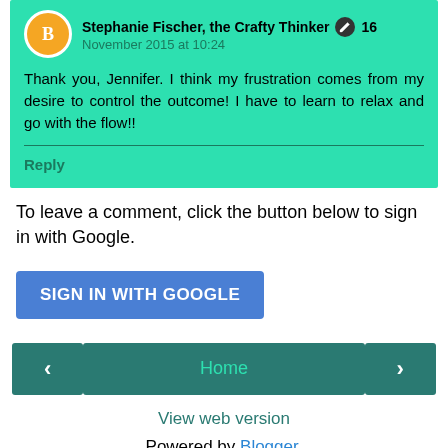Stephanie Fischer, the Crafty Thinker 16
November 2015 at 10:24
Thank you, Jennifer. I think my frustration comes from my desire to control the outcome! I have to learn to relax and go with the flow!!
Reply
To leave a comment, click the button below to sign in with Google.
[Figure (other): SIGN IN WITH GOOGLE button (blue)]
[Figure (other): Navigation bar with left arrow, Home button, right arrow]
View web version
Powered by Blogger.